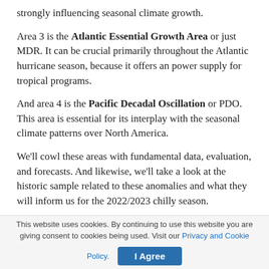strongly influencing seasonal climate growth.
Area 3 is the Atlantic Essential Growth Area or just MDR. It can be crucial primarily throughout the Atlantic hurricane season, because it offers an power supply for tropical programs.
And area 4 is the Pacific Decadal Oscillation or PDO. This area is essential for its interplay with the seasonal climate patterns over North America.
We'll cowl these areas with fundamental data, evaluation, and forecasts. And likewise, we'll take a look at the historic sample related to these anomalies and what they will inform us for the 2022/2023 chilly season.
This website uses cookies. By continuing to use this website you are giving consent to cookies being used. Visit our Privacy and Cookie Policy.